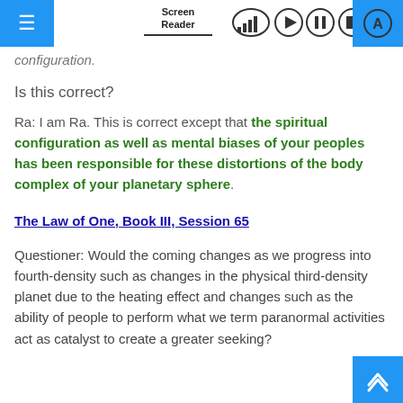Screen Reader [navigation icons]
configuration.
Is this correct?
Ra: I am Ra. This is correct except that the spiritual configuration as well as mental biases of your peoples has been responsible for these distortions of the body complex of your planetary sphere.
The Law of One, Book III, Session 65
Questioner: Would the coming changes as we progress into fourth-density such as changes in the physical third-density planet due to the heating effect and changes such as the ability of people to perform what we term paranormal activities act as catalyst to create a greater seeking?